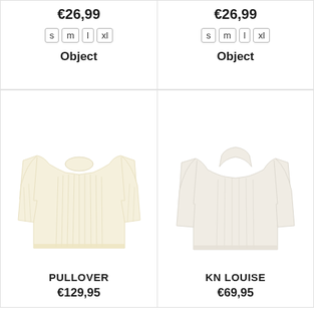€26,99
s  m  l  xl
Object
€26,99
s  m  l  xl
Object
[Figure (photo): Cream/off-white ribbed knit crewneck pullover sweater]
PULLOVER
€129,95
[Figure (photo): White/cream ribbed knit turtleneck sweater KN Louise]
KN LOUISE
€69,95